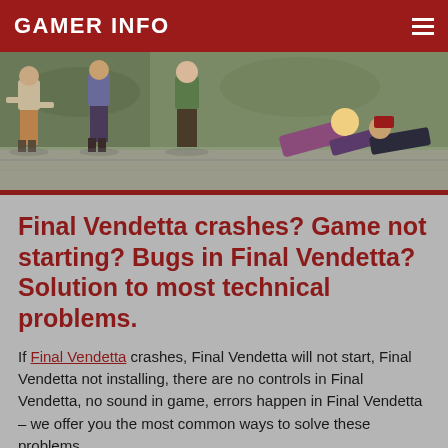GAMER INFO
[Figure (illustration): Screenshot/artwork from Final Vendetta game showing fighting game characters in mid-battle on a city street background]
Final Vendetta crashes? Game not starting? Bugs in Final Vendetta? Solution to most technical problems.
If Final Vendetta crashes, Final Vendetta will not start, Final Vendetta not installing, there are no controls in Final Vendetta, no sound in game, errors happen in Final Vendetta – we offer you the most common ways to solve these problems.
Be sure to update your graphics card drivers and other software